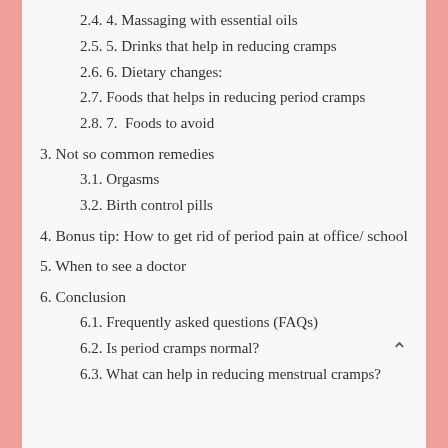2.4. 4. Massaging with essential oils
2.5. 5. Drinks that help in reducing cramps
2.6. 6. Dietary changes:
2.7. Foods that helps in reducing period cramps
2.8. 7.  Foods to avoid
3. Not so common remedies
3.1. Orgasms
3.2. Birth control pills
4. Bonus tip: How to get rid of period pain at office/ school
5. When to see a doctor
6. Conclusion
6.1. Frequently asked questions (FAQs)
6.2. Is period cramps normal?
6.3. What can help in reducing menstrual cramps?